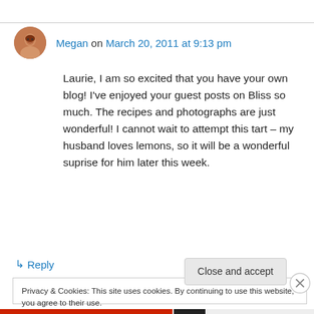Megan on March 20, 2011 at 9:13 pm
Laurie, I am so excited that you have your own blog! I've enjoyed your guest posts on Bliss so much. The recipes and photographs are just wonderful! I cannot wait to attempt this tart – my husband loves lemons, so it will be a wonderful suprise for him later this week.
↳ Reply
Privacy & Cookies: This site uses cookies. By continuing to use this website, you agree to their use. To find out more, including how to control cookies, see here: Cookie Policy
Close and accept